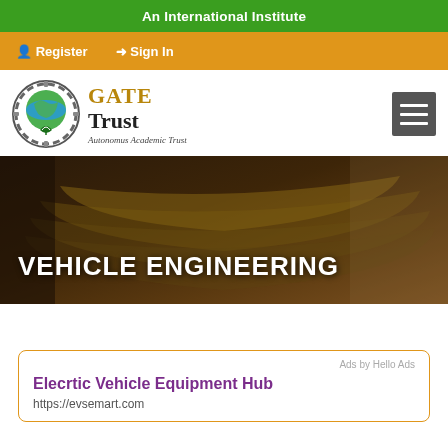An International Institute
Register   Sign In
[Figure (logo): GATE Trust logo with globe and gear icon. Text: GATE Trust Autonomus Academic Trust]
[Figure (photo): Hero banner with open book background and white text VEHICLE ENGINEERING]
Ads by Hello Ads
Elecrtic Vehicle Equipment Hub
https://evsemart.com